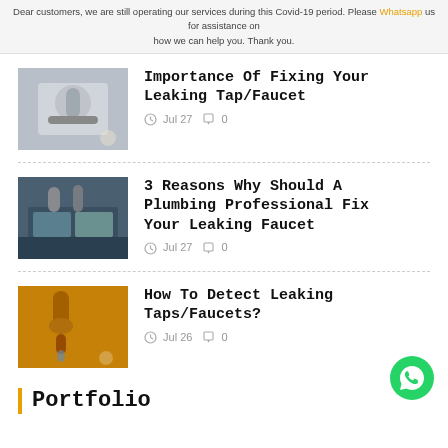Dear customers, we are still operating our services during this Covid-19 period. Please Whatsapp us for assistance on how we can help you. Thank you.
[Figure (photo): Photo of a chrome tap/faucet fixture]
Importance Of Fixing Your Leaking Tap/Faucet
Jul 27   0
[Figure (photo): Photo of a plumbing sink area]
3 Reasons Why Should A Plumbing Professional Fix Your Leaking Faucet
Jul 27   0
[Figure (photo): Photo of a gold/yellow colored dripping faucet]
How To Detect Leaking Taps/Faucets?
Jul 26   0
Portfolio